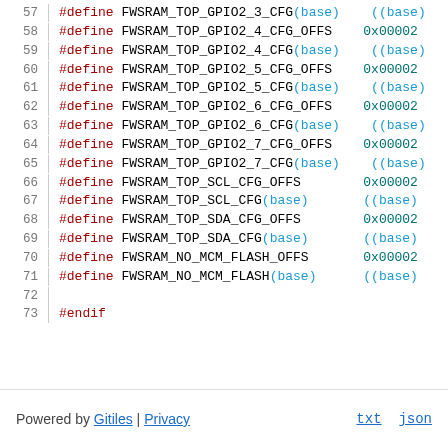57  #define FWSRAM_TOP_GPIO2_3_CFG(base)   ((base)
58  #define FWSRAM_TOP_GPIO2_4_CFG_OFFS   0x000020
59  #define FWSRAM_TOP_GPIO2_4_CFG(base)   ((base)
60  #define FWSRAM_TOP_GPIO2_5_CFG_OFFS   0x000020
61  #define FWSRAM_TOP_GPIO2_5_CFG(base)   ((base)
62  #define FWSRAM_TOP_GPIO2_6_CFG_OFFS   0x000020
63  #define FWSRAM_TOP_GPIO2_6_CFG(base)   ((base)
64  #define FWSRAM_TOP_GPIO2_7_CFG_OFFS   0x000020
65  #define FWSRAM_TOP_GPIO2_7_CFG(base)   ((base)
66  #define FWSRAM_TOP_SCL_CFG_OFFS        0x000020
67  #define FWSRAM_TOP_SCL_CFG(base)       ((base)
68  #define FWSRAM_TOP_SDA_CFG_OFFS        0x000020
69  #define FWSRAM_TOP_SDA_CFG(base)       ((base)
70  #define FWSRAM_NO_MCM_FLASH_OFFS       0x000020
71  #define FWSRAM_NO_MCM_FLASH(base)      ((base)
72
73  #endif
Powered by Gitiles | Privacy    txt  json